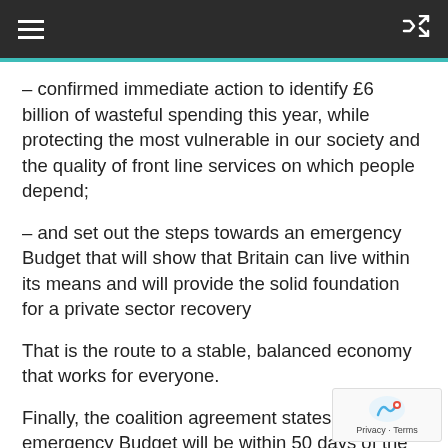– confirmed immediate action to identify £6 billion of wasteful spending this year, while protecting the most vulnerable in our society and the quality of front line services on which people depend;
– and set out the steps towards an emergency Budget that will show that Britain can live within its means and will provide the solid foundation for a private sector recovery
That is the route to a stable, balanced economy that works for everyone.
Finally, the coalition agreement states that the emergency Budget will be within 50 days of the signing of the agreement.